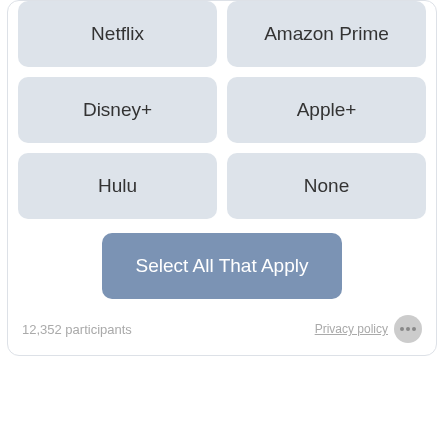Netflix
Amazon Prime
Disney+
Apple+
Hulu
None
Select All That Apply
12,352 participants
Privacy policy